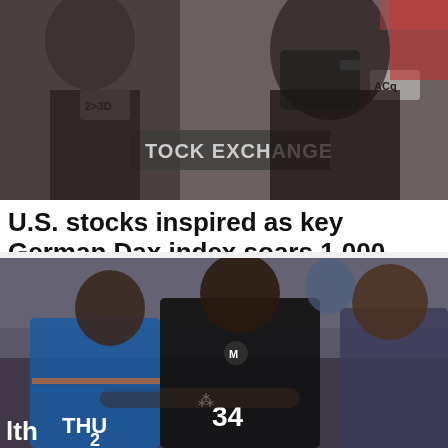[Figure (photo): Stock exchange traders on a trading floor, with signs reading 'STOCK EXCHANGE' visible in the background]
U.S. stocks inspired as key German Dax index soars 1,000 points
U.S. stocks roared back to life on Wednesday on speculation a diplomatic breakthrough in the Russia-Ukraine war was ...
Wisconsin
[Figure (photo): NBA basketball game action showing player number 34 in a black Milwaukee Bucks jersey (Giannis Antetokounmpo) being guarded by Oklahoma City Thunder player number 2, with other players in background]